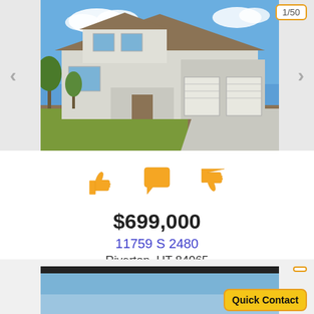[Figure (photo): Exterior photo of a large two-story white/gray house with three-car garage, blue sky, and front lawn]
1/50
$699,000
11759 S 2480
Riverton, UT 84065
4 BED | 4 BATH
[Figure (photo): Partial view of a second property listing photo (dark/blue sky)]
Quick Contact